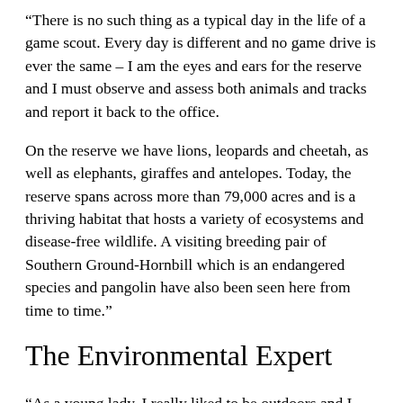“There is no such thing as a typical day in the life of a game scout. Every day is different and no game drive is ever the same – I am the eyes and ears for the reserve and I must observe and assess both animals and tracks and report it back to the office.
On the reserve we have lions, leopards and cheetah, as well as elephants, giraffes and antelopes. Today, the reserve spans across more than 79,000 acres and is a thriving habitat that hosts a variety of ecosystems and disease-free wildlife. A visiting breeding pair of Southern Ground-Hornbill which is an endangered species and pangolin have also been seen here from time to time.”
The Environmental Expert
“As a young lady, I really liked to be outdoors and I loved animals – that was the initial trigger for me. I studied medicine at the…